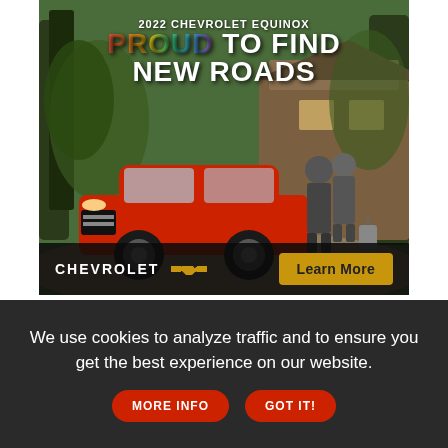[Figure (photo): Chevrolet advertisement for the 2022 Chevrolet Equinox SUV. Background shows a wooded/forest scene with a house. A red Equinox SUV is prominently featured in the foreground. Two people stand beside it with luggage. Text overlay reads '2022 CHEVROLET EQUINOX' and 'PROUD TO FIND NEW ROADS' with rainbow-colored 'PROUD'. Bottom bar contains Chevrolet logo and a gold 'Learn More' button.]
The good news: Many of the new COVID-19 vaccines are made with new, flexible technology that's easy to upgrade. What's harder: Deciding if the virus has mutated enough that it's time to modify vaccines — and what changes to make.
We use cookies to analyze traffic and to ensure you get the best experience on our website.  MORE INFO  GOT IT!